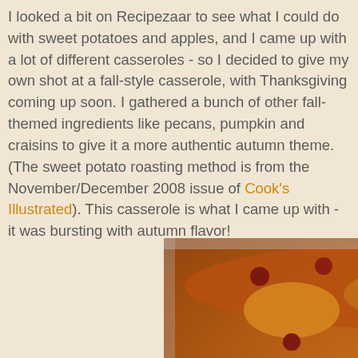I looked a bit on Recipezaar to see what I could do with sweet potatoes and apples, and I came up with a lot of different casseroles - so I decided to give my own shot at a fall-style casserole, with Thanksgiving coming up soon. I gathered a bunch of other fall-themed ingredients like pecans, pumpkin and craisins to give it a more authentic autumn theme. (The sweet potato roasting method is from the November/December 2008 issue of Cook's Illustrated). This casserole is what I came up with - it was bursting with autumn flavor!
[Figure (photo): A baked casserole dish containing sweet potatoes, apples, craisins, and other fall-themed ingredients, golden-brown and roasted in a foil pan.]